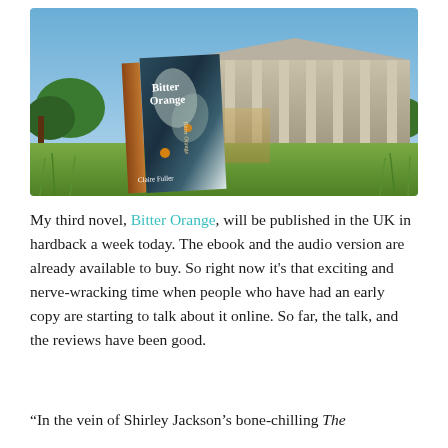[Figure (photo): A copy of the book 'Bitter Orange' by Claire Fuller standing upright in grass in front of a large neoclassical building with columns under a blue sky.]
My third novel, Bitter Orange, will be published in the UK in hardback a week today. The ebook and the audio version are already available to buy. So right now it's that exciting and nerve-wracking time when people who have had an early copy are starting to talk about it online. So far, the talk, and the reviews have been good.
“In the vein of Shirley Jackson’s bone-chilling The